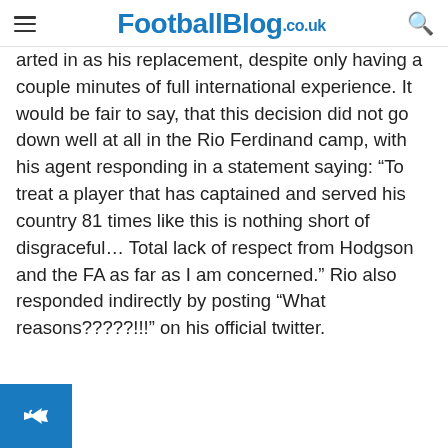FootballBlog.co.uk
arted in as his replacement, despite only having a couple minutes of full international experience. It would be fair to say, that this decision did not go down well at all in the Rio Ferdinand camp, with his agent responding in a statement saying: “To treat a player that has captained and served his country 81 times like this is nothing short of disgraceful… Total lack of respect from Hodgson and the FA as far as I am concerned.” Rio also responded indirectly by posting “What reasons?????!!!” on his official twitter.